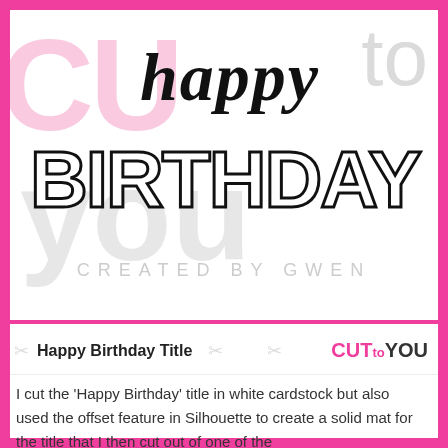[Figure (illustration): Happy Birthday title design graphic with 'happy' in cursive script overlaid on 'BIRTHDAY' in bold outlined block letters, with watermark text 'CUT to YOU' in pink and gray in the background, and 'CREATED BY GWEN' below in light gray spaced capitals]
Happy Birthday Title
[Figure (logo): CUTtoYOU logo in pink and dark text]
I cut the 'Happy Birthday' title in white cardstock but also used the offset feature in Silhouette to create a solid mat for the title that I then cut out of one of the